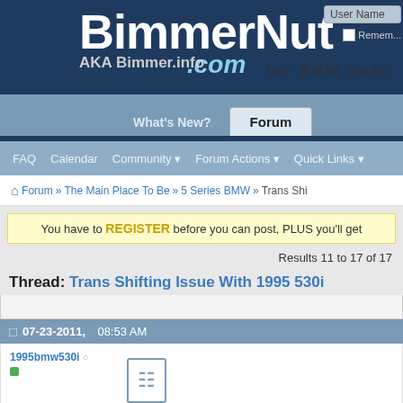[Figure (screenshot): BimmerNut.com website header with logo, AKA Bimmer.info, for BMW nuts tagline, User Name login field, Remember Me checkbox]
What's New? | Forum | FAQ | Calendar | Community | Forum Actions | Quick Links
Forum > The Main Place To Be > 5 Series BMW > Trans Shi...
You have to REGISTER before you can post, PLUS you'll get
Results 11 to 17 of 17
Thread: Trans Shifting Issue With 1995 530i
07-23-2011, 08:53 AM
1995bmw530i
I will put her back up on jacketands today and fil